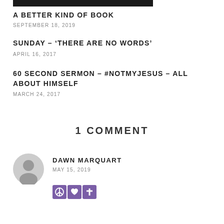[Figure (photo): Black rectangular image bar at top]
A BETTER KIND OF BOOK
SEPTEMBER 18, 2019
SUNDAY – 'THERE ARE NO WORDS'
APRIL 16, 2017
60 SECOND SERMON – #NOTMYJESUS – ALL ABOUT HIMSELF
MARCH 24, 2017
1 COMMENT
[Figure (illustration): Gray circular avatar icon for commenter]
DAWN MARQUART
MAY 15, 2019
[Figure (illustration): Three emoji icons in purple boxes: peace sign, heart, cross]